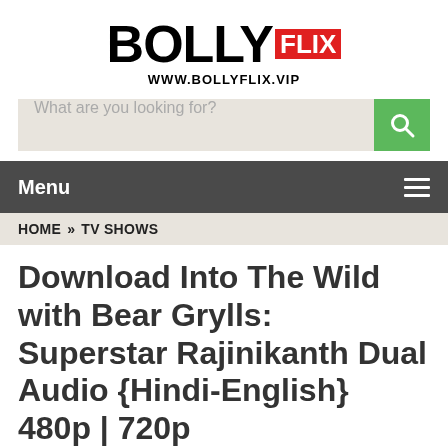[Figure (logo): BollyFlix logo with BOLLY in black bold text and FLIX in white on red background, with www.bollyflix.vip below]
What are you looking for?
Menu
HOME » TV SHOWS
Download Into The Wild with Bear Grylls: Superstar Rajinikanth Dual Audio {Hindi-English} 480p | 720p